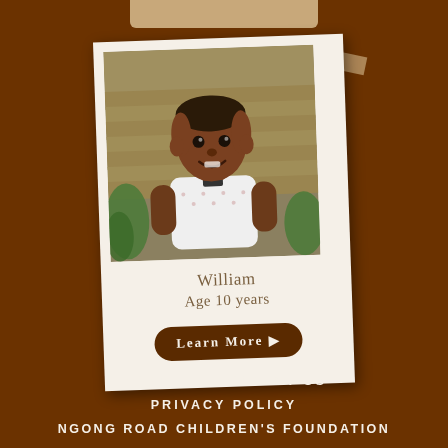[Figure (photo): Polaroid-style card featuring a young boy named William, age 10 years, smiling in front of wooden steps, wearing a white patterned shirt. The card has a cream/beige background with the child's name, age, and a 'Learn More' button.]
William
Age 10 years
Learn More ▶
HOME   CONTACT US
PRIVACY POLICY
NGONG ROAD CHILDREN'S FOUNDATION